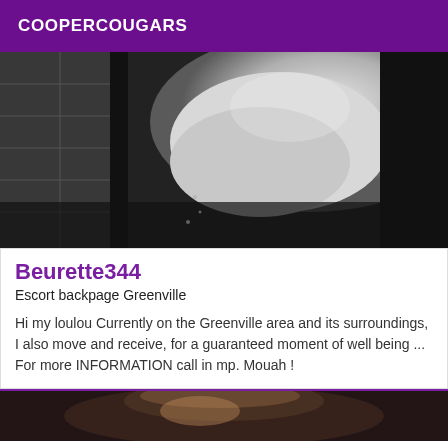COOPERCOUGARS
[Figure (photo): Black and white close-up photograph]
Beurette344
Escort backpage Greenville
Hi my loulou Currently on the Greenville area and its surroundings, I also move and receive, for a guaranteed moment of well being ... For more INFORMATION call in mp. Mouah !
[Figure (photo): Partial photo visible at bottom of page]